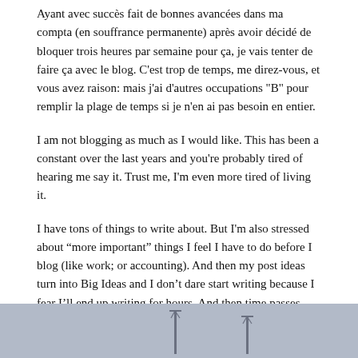Ayant avec succès fait de bonnes avancées dans ma compta (en souffrance permanente) après avoir décidé de bloquer trois heures par semaine pour ça, je vais tenter de faire ça avec le blog. C'est trop de temps, me direz-vous, et vous avez raison: mais j'ai d'autres occupations "B" pour remplir la plage de temps si je n'en ai pas besoin en entier.
I am not blogging as much as I would like. This has been a constant over the last years and you're probably tired of hearing me say it. Trust me, I'm even more tired of living it.
I have tons of things to write about. But I'm also stressed about “more important” things I feel I have to do before I blog (like work; or accounting). And then my post ideas turn into Big Ideas and I don’t dare start writing because I fear I’ll end up writing for hours. And then time passes, and I haven’t blogged, and the more time passes, the more I pressure myself to produce something, and the less I start writing — because blogging for me is about responding to an impulse to share.
So, this is an ongoing struggle.
[Figure (photo): A photo showing what appears to be cranes or similar tall structures against a grey sky, partial view cut off at bottom of page.]